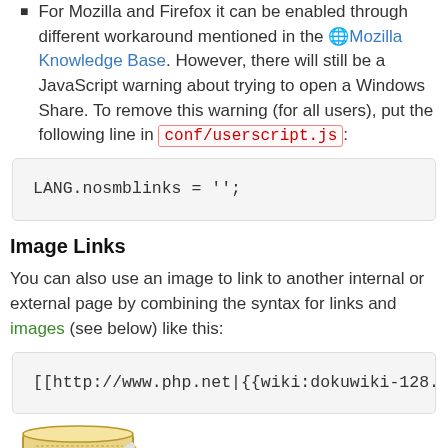For Mozilla and Firefox it can be enabled through different workaround mentioned in the Mozilla Knowledge Base. However, there will still be a JavaScript warning about trying to open a Windows Share. To remove this warning (for all users), put the following line in conf/userscript.js:
Image Links
You can also use an image to link to another internal or external page by combining the syntax for links and images (see below) like this:
[Figure (logo): DokuWiki logo — a scroll/parchment with a pencil, partially visible at bottom of page]